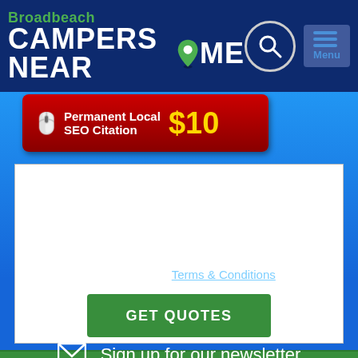[Figure (screenshot): Broadbeach Campers Near Me website header with logo and navigation icons]
[Figure (infographic): Red promotional banner: Permanent Local SEO Citation $10]
...comments or instructions
I accept the Terms & Conditions
GET QUOTES
Sign up for our newsletter